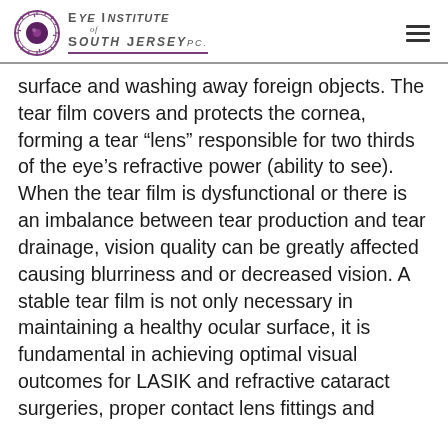Eye Institute of South Jersey PC
surface and washing away foreign objects. The tear film covers and protects the cornea, forming a tear “lens” responsible for two thirds of the eye’s refractive power (ability to see). When the tear film is dysfunctional or there is an imbalance between tear production and tear drainage, vision quality can be greatly affected causing blurriness and or decreased vision. A stable tear film is not only necessary in maintaining a healthy ocular surface, it is fundamental in achieving optimal visual outcomes for LASIK and refractive cataract surgeries, proper contact lens fittings and